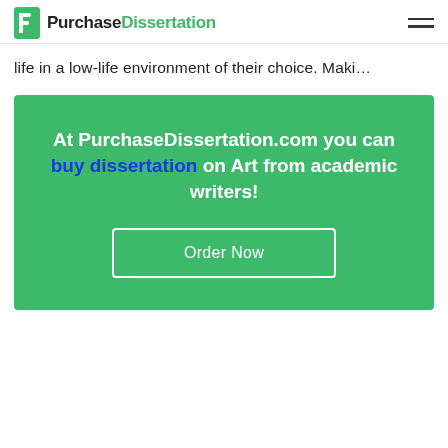PurchaseDissertation
life in a low-life environment of their choice. Maki…
[Figure (infographic): Green promotional banner with text: 'At PurchaseDissertation.com you can buy dissertation on Art from academic writers!' and an 'Order Now' button with white border on green background.]